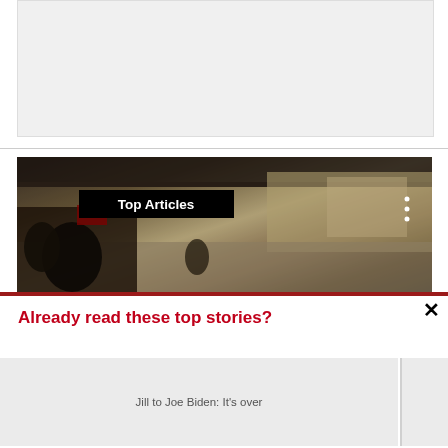[Figure (photo): Gray placeholder advertisement box]
[Figure (photo): Blurred interior photo of a shopping mall with multiple levels, people walking, and stores visible. A black label reads 'Top Articles' overlaid on the image. Three white dots appear on the right side.]
Already read these top stories?
Jill to Joe Biden: It's over